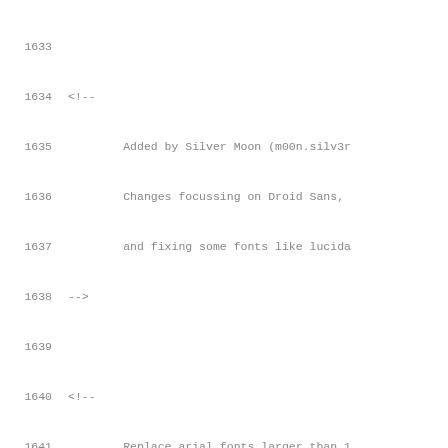Code listing lines 1633-1654, XML/fontconfig source code
1633
1634    <!--
1635            Added by Silver Moon (m00n.silv3r
1636            Changes focussing on Droid Sans,
1637            and fixing some fonts like lucida
1638    -->
1639
1640    <!--
1641            Replace arial fonts larger than 1
1642            Works only in firefox, not in chr
1643    -->
1644
1645
1646    <match target="pattern">
1647            <test qual="any" name="family" co
1648                    <string>Arial</string>
1649            </test>
1650            <test qual="any" name="pixelsize"
1651                    <double>12.0</double>
1652            </test>
1653            <edit name="family" mode="assign"
1654                    <string>droid sans</strin